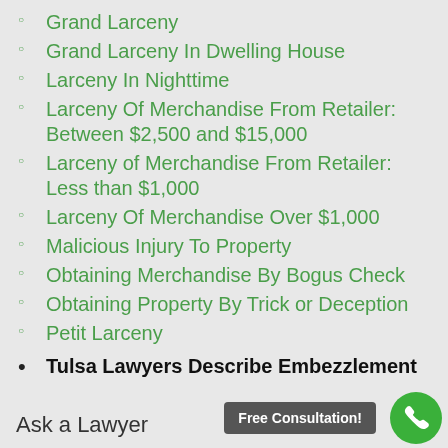Grand Larceny
Grand Larceny In Dwelling House
Larceny In Nighttime
Larceny Of Merchandise From Retailer: Between $2,500 and $15,000
Larceny of Merchandise From Retailer: Less than $1,000
Larceny Of Merchandise Over $1,000
Malicious Injury To Property
Obtaining Merchandise By Bogus Check
Obtaining Property By Trick or Deception
Petit Larceny
Tulsa Lawyers Describe Embezzlement
Ask a Lawyer
Free Consultation!